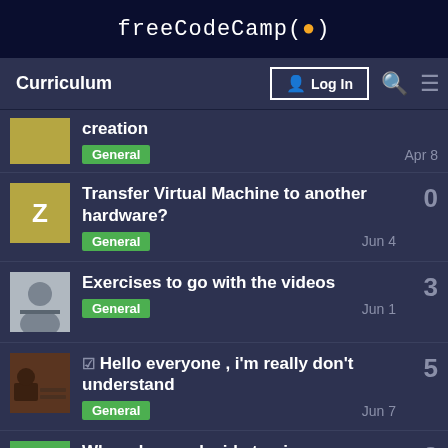freeCodeCamp(🔥)
Curriculum | Log In
creation | General | Apr 8
Transfer Virtual Machine to another hardware? | General | Jun 4 | 0
Exercises to go with the videos | General | Jun 1 | 3
☑ Hello everyone , i'm really don't understand | General | Jun 7 | 5
When do you decide to give up | 3